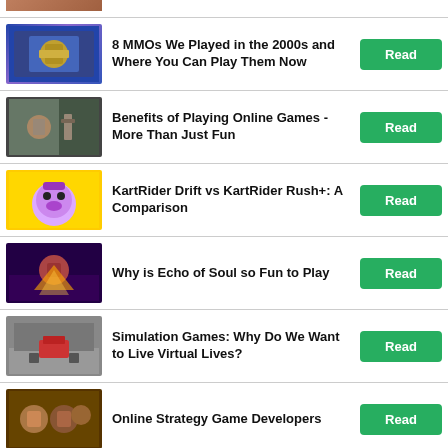[Figure (photo): Partial top image showing a game character, cropped]
8 MMOs We Played in the 2000s and Where You Can Play Them Now
Benefits of Playing Online Games - More Than Just Fun
KartRider Drift vs KartRider Rush+: A Comparison
Why is Echo of Soul so Fun to Play
Simulation Games: Why Do We Want to Live Virtual Lives?
Online Strategy Game Developers
Why MMO Shooters Are So Addictive?